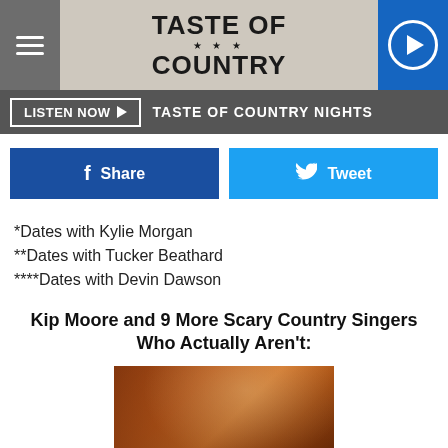TASTE OF COUNTRY
LISTEN NOW ▶  TASTE OF COUNTRY NIGHTS
[Figure (screenshot): Share and Tweet social media buttons]
*Dates with Kylie Morgan
**Dates with Tucker Beathard
****Dates with Devin Dawson
Kip Moore and 9 More Scary Country Singers Who Actually Aren't:
[Figure (photo): Photo of a country music performer wearing a cap and playing guitar, lit by orange/warm stage lighting]